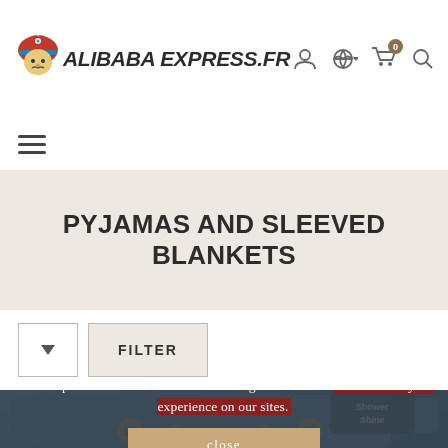ALIBABA EXPRESS.FR
[Figure (logo): Alibaba Express FR logo with cartoon character in red turban]
[Figure (infographic): Navigation icons: user account, globe/language selector, shopping cart with badge showing 0, search]
[Figure (infographic): Hamburger menu icon (three horizontal lines)]
PYJAMAS AND SLEEVED BLANKETS
[Figure (infographic): Sort/filter controls: sort dropdown button with arrow and FILTER button]
[Figure (photo): Product photo showing blue sleeved blanket/pyjama with yellow decorations and Shower Shine logo]
This shop uses cookies and other technologies so that we can enhance your experience on our sites.
close